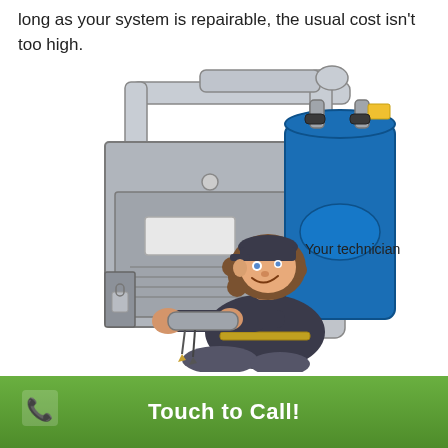long as your system is repairable, the usual cost isn't too high.
[Figure (illustration): Cartoon illustration of a technician kneeling and working on a furnace/HVAC system with pipes and a blue water heater unit. The technician wears a dark cap and uniform and is smiling. Label 'Your technician' appears to the right.]
Touch to Call!